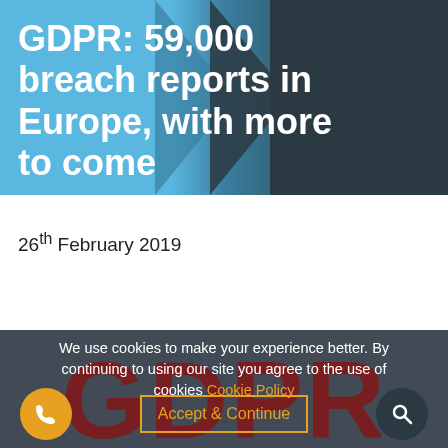GDPR: 59,000 breach reports in Europe, with more to come
26th February 2019
We use cookies to make your experience better. By continuing to using our site you agree to the use of cookies Cookie Policy
Accept & Continue